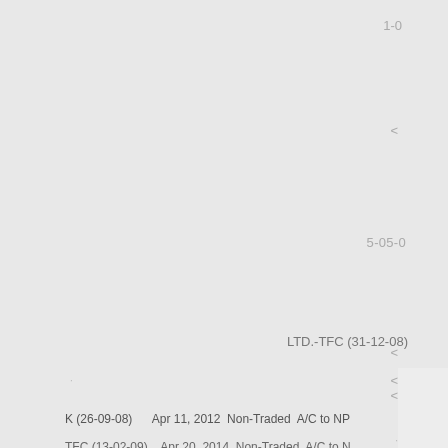1-0
<
5-05-0
<
<
5-02-
LTD.-TFC (31-12-08)
<
K (26-09-08)    Apr 11, 2012   Non-Traded   A/C to NP
TFC (13-02-09)    Apr 20, 2014   Non-Traded   A/C to N